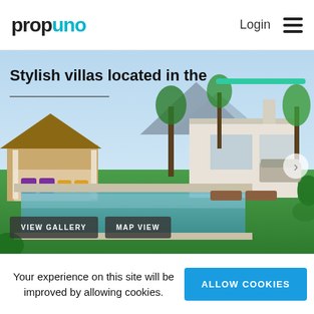propuno — Login [hamburger menu]
Stylish villas located in the
[Figure (photo): Aerial/garden view of a modern luxury villa with swimming pool, thatched cabana, and tropical garden landscape. Mountains in background.]
VIEW GALLERY
MAP VIEW
Your experience on this site will be improved by allowing cookies.
ALLOW COOKIES